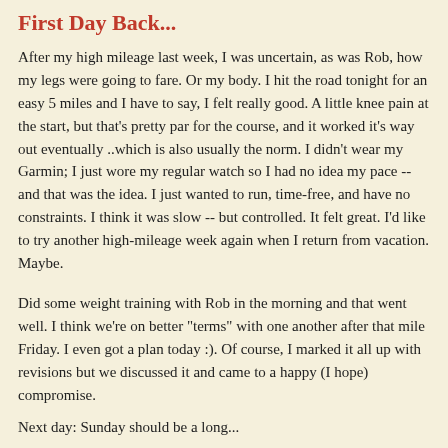First Day Back...
After my high mileage last week, I was uncertain, as was Rob, how my legs were going to fare. Or my body. I hit the road tonight for an easy 5 miles and I have to say, I felt really good. A little knee pain at the start, but that's pretty par for the course, and it worked it's way out eventually ..which is also usually the norm. I didn't wear my Garmin; I just wore my regular watch so I had no idea my pace -- and that was the idea. I just wanted to run, time-free, and have no constraints. I think it was slow -- but controlled. It felt great. I'd like to try another high-mileage week again when I return from vacation. Maybe.
Did some weight training with Rob in the morning and that went well. I think we're on better "terms" with one another after that mile Friday. I even got a plan today :). Of course, I marked it all up with revisions but we discussed it and came to a happy (I hope) compromise.
Next day: Sunday should be a long...